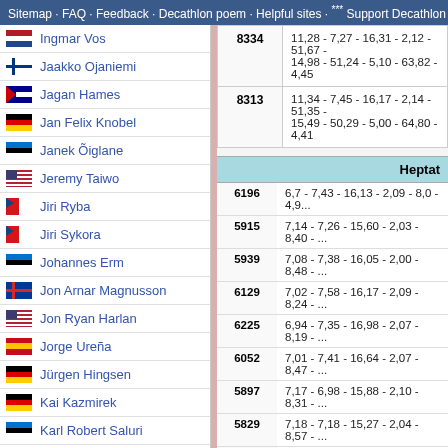Sitemap · FAQ · Feedback · Decathlon poem · Helpful sites · *** Support Decathlon
Ingmar Vos
Jaakko Ojaniemi
Jagan Hames
Jan Felix Knobel
Janek Õiglane
Jeremy Taiwo
Jiri Ryba
Jiri Sykora
Johannes Erm
Jon Arnar Magnusson
Jon Ryan Harlan
Jorge Ureña
Jürgen Hingsen
Kai Kazmirek
Karl Robert Saluri
Kevin Mayer
Kip Janvrin
Klaus Isekenmeier
| Score | Events |
| --- | --- |
| 8334 | 11,28 - 7,27 - 16,31 - 2,12 - 51,67 - 14,98 - 51,24 - 5,10 - 63,82 - 4,45 |
| 8313 | 11,34 - 7,45 - 16,17 - 2,14 - 51,35 - 15,49 - 50,29 - 5,00 - 64,80 - 4,41 |
Heptathlon
| Score | Events |
| --- | --- |
| 6196 | 6,7 - 7,43 - 16,13 - 2,09 - 8,0 - 4,9... |
| 5915 | 7,14 - 7,26 - 15,60 - 2,03 - 8,40 - ... |
| 5939 | 7,08 - 7,38 - 16,05 - 2,00 - 8,48 - ... |
| 6129 | 7,02 - 7,58 - 16,17 - 2,09 - 8,24 - ... |
| 6225 | 6,94 - 7,35 - 16,98 - 2,07 - 8,19 - ... |
| 6052 | 7,01 - 7,41 - 16,64 - 2,07 - 8,47 - ... |
| 5897 | 7,17 - 6,98 - 15,88 - 2,10 - 8,31 - ... |
| 5829 | 7,18 - 7,18 - 15,27 - 2,04 - 8,57 - ... |
| 6101 | 7,09 - 7,24 - 16,57 - 2,09 - 8,39 - ... |
| 6096 | 7,08 - 7,33 - 16,91 - 2,08 - 8,32 - ... |
| 6300 | 7,08 - 7,55 - 17,03 - 2,15 - 8,35 - ... |
| 6141 | 7,08 - 7,29 - 17,17 - 2,09 - 8,34 - ... |